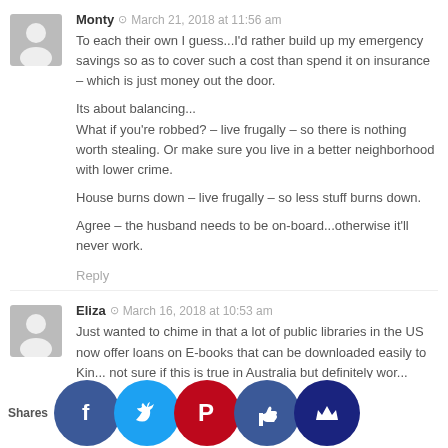Monty · March 21, 2018 at 11:56 am
To each their own I guess...I'd rather build up my emergency savings so as to cover such a cost than spend it on insurance – which is just money out the door.

Its about balancing...
What if you're robbed? – live frugally – so there is nothing worth stealing. Or make sure you live in a better neighborhood with lower crime.

House burns down – live frugally – so less stuff burns down.

Agree – the husband needs to be on-board...otherwise it'll never work.
Reply
Eliza · March 16, 2018 at 10:53 am
Just wanted to chime in that a lot of public libraries in the US now offer loans on E-books that can be downloaded easily to Kin... not sure if this is true in Australia but definitely wor... check out!